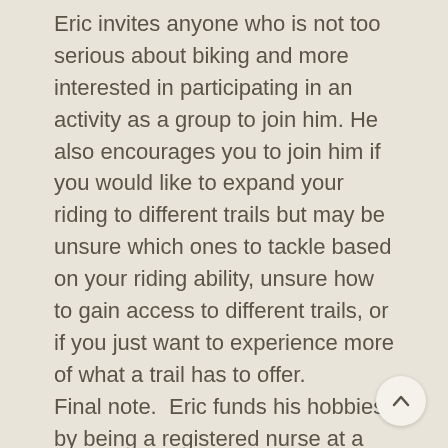Eric invites anyone who is not too serious about biking and more interested in participating in an activity as a group to join him. He also encourages you to join him if you would like to expand your riding to different trails but may be unsure which ones to tackle based on your riding ability, unsure how to gain access to different trails, or if you just want to experience more of what a trail has to offer.
Final note.  Eric funds his hobbies by being a registered nurse at a local hospital's critical care unit. He maintains certification as a paramedic and is trained in Wilderness First Aid and Pet First Aid. He is also a CPR instructor and teaches higher levels of training for life-threatening medical emergencies.